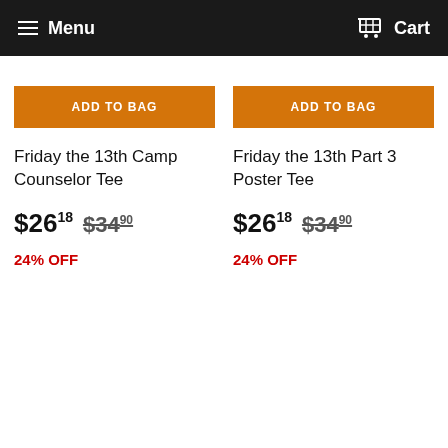Menu  Cart
ADD TO BAG
Friday the 13th Camp Counselor Tee
$26.18  $34.90
24% OFF
ADD TO BAG
Friday the 13th Part 3 Poster Tee
$26.18  $34.90
24% OFF